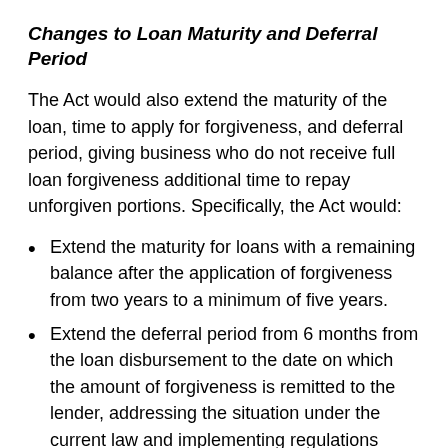Changes to Loan Maturity and Deferral Period
The Act would also extend the maturity of the loan, time to apply for forgiveness, and deferral period, giving business who do not receive full loan forgiveness additional time to repay unforgiven portions. Specifically, the Act would:
Extend the maturity for loans with a remaining balance after the application of forgiveness from two years to a minimum of five years.
Extend the deferral period from 6 months from the loan disbursement to the date on which the amount of forgiveness is remitted to the lender, addressing the situation under the current law and implementing regulations where a borrower could be required to begin repayment of the loan before a final determination on forgiveness was